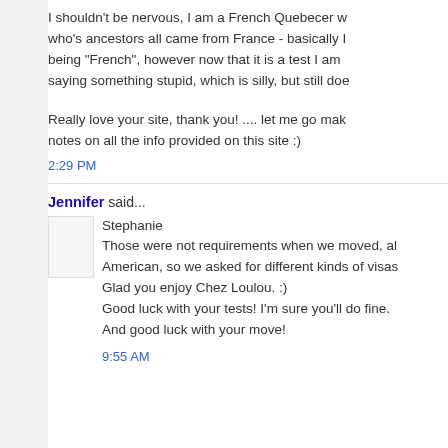I shouldn't be nervous, I am a French Quebecer w... who's ancestors all came from France - basically I... being "French", however now that it is a test I am... saying something stupid, which is silly, but still doe...
Really love your site, thank you! .... let me go mak... notes on all the info provided on this site :)
2:29 PM
Jennifer said...
Stephanie
Those were not requirements when we moved, al...
American, so we asked for different kinds of visas...
Glad you enjoy Chez Loulou. :)
Good luck with your tests! I'm sure you'll do fine.
And good luck with your move!
9:55 AM